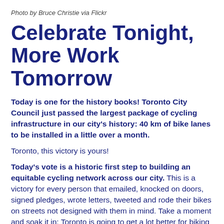Photo by Bruce Christie via Flickr
Celebrate Tonight, More Work Tomorrow
Today is one for the history books! Toronto City Council just passed the largest package of cycling infrastructure in our city's history: 40 km of bike lanes to be installed in a little over a month.
Toronto, this victory is yours!
Today's vote is a historic first step to building an equitable cycling network across our city. This is a victory for every person that emailed, knocked on doors, signed pledges, wrote letters, tweeted and rode their bikes on streets not designed with them in mind. Take a moment and soak it in; Toronto is going to get a lot better for biking very soon.
Today's package includes new projects in North York and Scarborough, some new connections within the core, a new